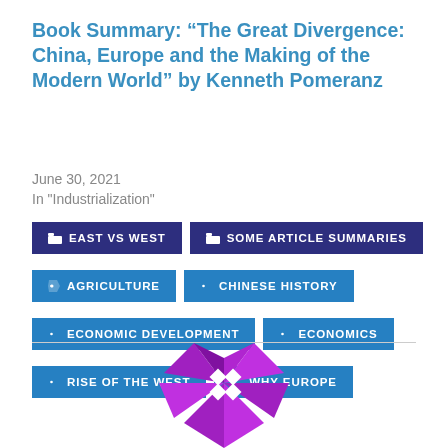Book Summary: “The Great Divergence: China, Europe and the Making of the Modern World” by Kenneth Pomeranz
June 30, 2021
In "Industrialization"
EAST VS WEST
SOME ARTICLE SUMMARIES
AGRICULTURE
CHINESE HISTORY
ECONOMIC DEVELOPMENT
ECONOMICS
RISE OF THE WEST
WHY EUROPE
[Figure (logo): Purple decorative star/pinwheel logo at bottom center of page]